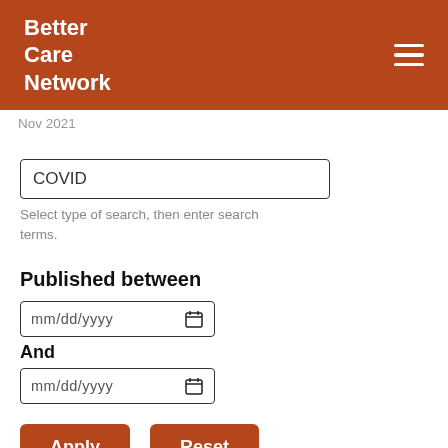Better Care Network
Nov 2021
COVID
Select type of search, then enter search terms.
Published between
mm/dd/yyyy
And
mm/dd/yyyy
Apply
Reset
Region/Country